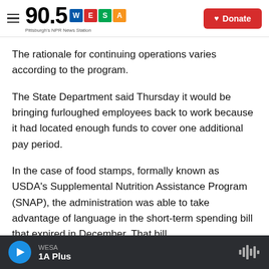90.5 WESA — Pittsburgh's NPR News Station | Donate
The rationale for continuing operations varies according to the program.
The State Department said Thursday it would be bringing furloughed employees back to work because it had located enough funds to cover one additional pay period.
In the case of food stamps, formally known as USDA's Supplemental Nutrition Assistance Program (SNAP), the administration was able to take advantage of language in the short-term spending bill that expired in December. That bill
WESA | 1A Plus